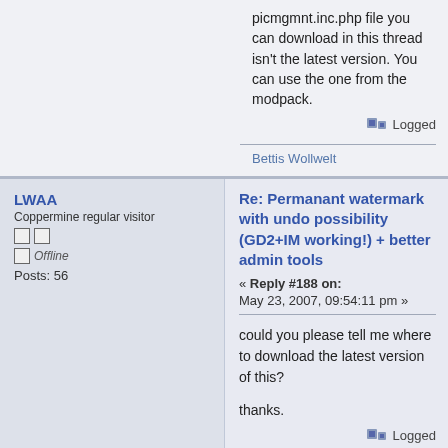picmgmnt.inc.php file you can download in this thread isn't the latest version. You can use the one from the modpack.
Logged
Bettis Wollwelt
LWAA
Coppermine regular visitor
Offline
Posts: 56
Re: Permanant watermark with undo possibility (GD2+IM working!) + better admin tools
« Reply #188 on: May 23, 2007, 09:54:11 pm »
could you please tell me where to download the latest version of this?

thanks.
Logged
<i>"I understand everything, except what you're telling me"</i>